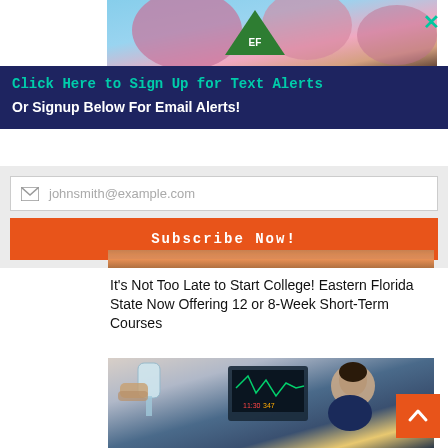[Figure (photo): Top portion of an advertisement image showing trees with pink blossoms and a green triangular logo with 'EF' letters against a blue sky]
×
Click Here to Sign Up for Text Alerts
Or Signup Below For Email Alerts!
johnsmith@example.com
Subscribe Now!
[Figure (photo): Bottom portion of an advertisement image showing a person in orange clothing outdoors]
It's Not Too Late to Start College! Eastern Florida State Now Offering 12 or 8-Week Short-Term Courses
[Figure (photo): Photo of a man in a medical or clinical setting holding up an IV bag, with a medical monitor in the background]
[Figure (other): Orange scroll-to-top button with upward-pointing chevron arrow]